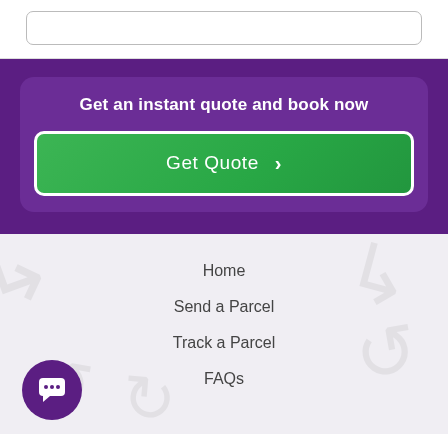[Figure (screenshot): Top white bar with a rounded input/search field]
Get an instant quote and book now
Get Quote >
Home
Send a Parcel
Track a Parcel
FAQs
[Figure (illustration): Purple circular chat/message icon button in bottom left]